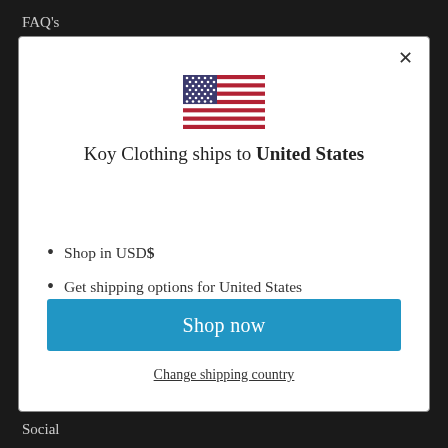FAQ's
[Figure (illustration): US flag emoji/icon centered in modal]
Koy Clothing ships to United States
Shop in USD $
Get shipping options for United States
Shop now
Change shipping country
Social